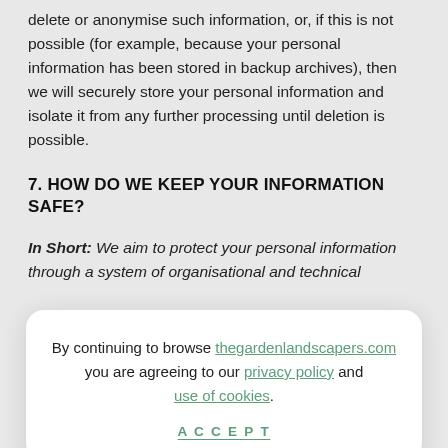delete or anonymise such information, or, if this is not possible (for example, because your personal information has been stored in backup archives), then we will securely store your personal information and isolate it from any further processing until deletion is possible.
7. HOW DO WE KEEP YOUR INFORMATION SAFE?
In Short: We aim to protect your personal information through a system of organisational and technical
By continuing to browse thegardenlandscapers.com you are agreeing to our privacy policy and use of cookies. ACCEPT
safeguards and efforts to secure your information, no